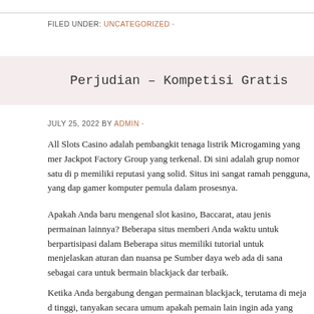FILED UNDER: UNCATEGORIZED ·
Perjudian – Kompetisi Gratis
JULY 25, 2022 BY ADMIN ·
All Slots Casino adalah pembangkit tenaga listrik Microgaming yang mer Jackpot Factory Group yang terkenal. Di sini adalah grup nomor satu di p memiliki reputasi yang solid. Situs ini sangat ramah pengguna, yang dap gamer komputer pemula dalam prosesnya.
Apakah Anda baru mengenal slot kasino, Baccarat, atau jenis permainan lainnya? Beberapa situs memberi Anda waktu untuk berpartisipasi dalam Beberapa situs memiliki tutorial untuk menjelaskan aturan dan nuansa pe Sumber daya web ada di sana sebagai cara untuk bermain blackjack dar terbaik.
Ketika Anda bergabung dengan permainan blackjack, terutama di meja d tinggi, tanyakan secara umum apakah pemain lain ingin ada yang menur